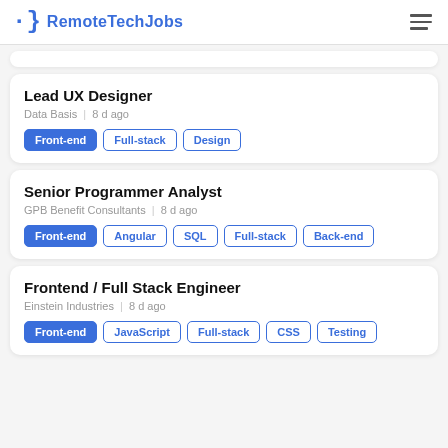RemoteTechJobs
Lead UX Designer
Data Basis | 8 d ago
Front-end | Full-stack | Design
Senior Programmer Analyst
GPB Benefit Consultants | 8 d ago
Front-end | Angular | SQL | Full-stack | Back-end
Frontend / Full Stack Engineer
Einstein Industries | 8 d ago
Front-end | JavaScript | Full-stack | CSS | Testing